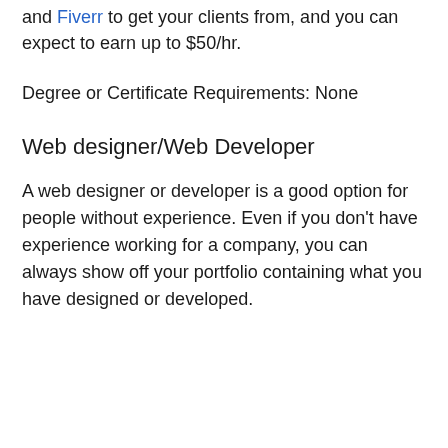and Fiverr to get your clients from, and you can expect to earn up to $50/hr.
Degree or Certificate Requirements: None
Web designer/Web Developer
A web designer or developer is a good option for people without experience. Even if you don’t have experience working for a company, you can always show off your portfolio containing what you have designed or developed.